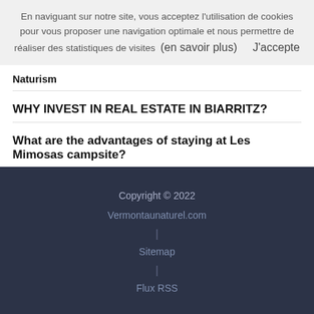En naviguant sur notre site, vous acceptez l'utilisation de cookies pour vous proposer une navigation optimale et nous permettre de réaliser des statistiques de visites  (en savoir plus)    J'accepte
Naturism
WHY INVEST IN REAL ESTATE IN BIARRITZ?
What are the advantages of staying at Les Mimosas campsite?
Copyright © 2022
Vermontaunaturel.com
|
Sitemap
|
Flux RSS